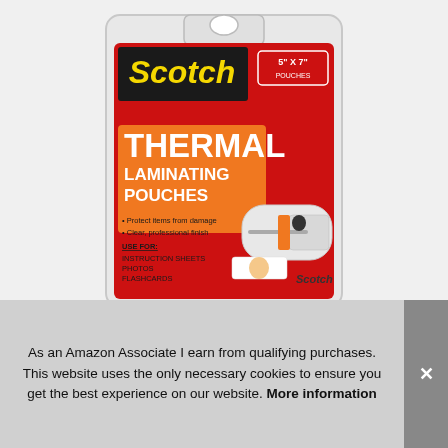[Figure (photo): Scotch Thermal Laminating Pouches product package photo. Red and orange package with Scotch brand name in yellow on black background. Text reads 'THERMAL LAMINATING POUCHES'. Features bullet points: 'Protect items from damage', 'Clear, professional finish'. USE FOR: Instruction Sheets, Photos, Flashcards. Size badge: 5" x 7" Pouches. Laminating machine shown on right side with Scotch branding.]
As an Amazon Associate I earn from qualifying purchases. This website uses the only necessary cookies to ensure you get the best experience on our website. More information